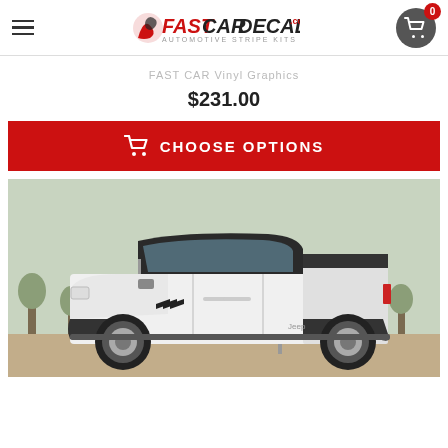FastCarDecals.com - Automotive Stripe Kits
FAST CAR Vinyl Graphics
$231.00
CHOOSE OPTIONS
[Figure (photo): White Jeep Gladiator pickup truck with vinyl decal graphics on the side, parked outdoors with trees in the background]